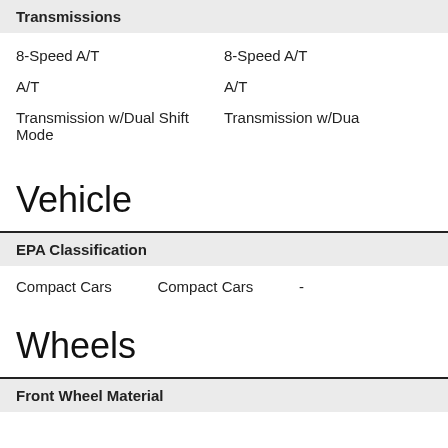Transmissions
8-Speed A/T	8-Speed A/T
A/T	A/T
Transmission w/Dual Shift Mode	Transmission w/Dua
Vehicle
EPA Classification
Compact Cars	Compact Cars	-
Wheels
Front Wheel Material